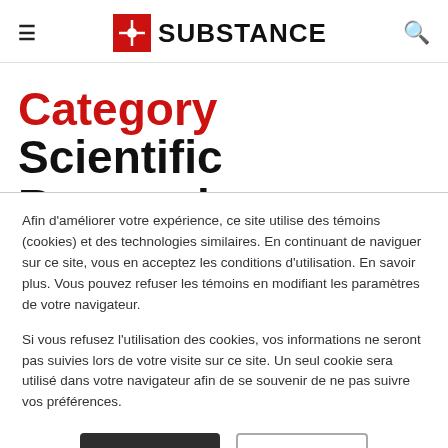≡  SUBSTANCE  🔍
Category Scientific Research Assistance
Afin d'améliorer votre expérience, ce site utilise des témoins (cookies) et des technologies similaires. En continuant de naviguer sur ce site, vous en acceptez les conditions d'utilisation. En savoir plus. Vous pouvez refuser les témoins en modifiant les paramètres de votre navigateur.
Si vous refusez l'utilisation des cookies, vos informations ne seront pas suivies lors de votre visite sur ce site. Un seul cookie sera utilisé dans votre navigateur afin de se souvenir de ne pas suivre vos préférences.
J'accepte  Refuser